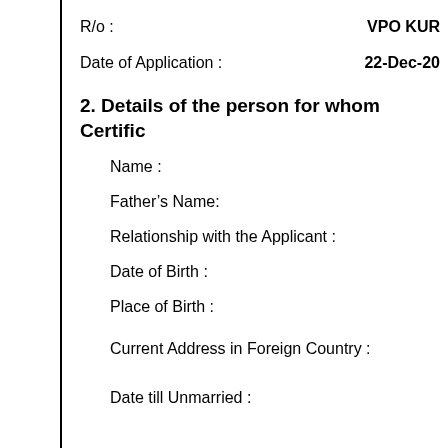R/o :                    VPO KUR
Date of Application :    22-Dec-20
2. Details of the person for whom Certific
Name :
Father’s Name:
Relationship with the Applicant :
Date of Birth :
Place of Birth :
Current Address in Foreign Country :
Date till Unmarried :